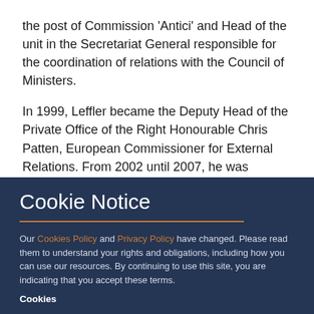the post of Commission 'Antici' and Head of the unit in the Secretariat General responsible for the coordination of relations with the Council of Ministers.

In 1999, Leffler became the Deputy Head of the Private Office of the Right Honourable Chris Patten, European Commissioner for External Relations. From 2002 until 2007, he was Director-in-Charge of the Middle East and South Mediterranean in the European Commission's Directorate General for External Relations. He then headed the Cabinet of Ms Margot Wallström, Commission Vice President...
Cookie Notice
Our Cookies Policy and Privacy Policy have changed. Please read them to understand your rights and obligations, including how you can use our resources. By continuing to use this site, you are indicating that you accept these terms.
Cookies